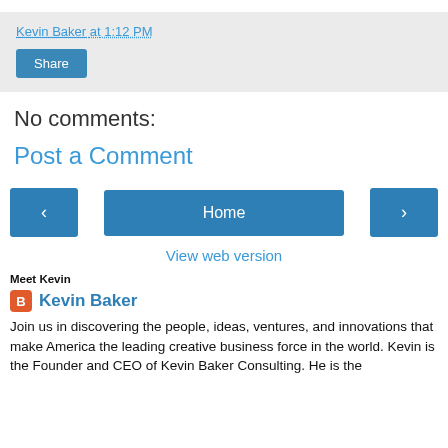Kevin Baker at 1:12 PM
Share
No comments:
Post a Comment
‹
Home
›
View web version
Meet Kevin
Kevin Baker
Join us in discovering the people, ideas, ventures, and innovations that make America the leading creative business force in the world. Kevin is the Founder and CEO of Kevin Baker Consulting. He is the